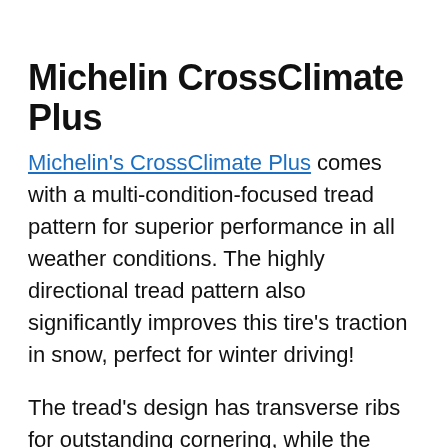Michelin CrossClimate Plus
Michelin's CrossClimate Plus comes with a multi-condition-focused tread pattern for superior performance in all weather conditions. The highly directional tread pattern also significantly improves this tire's traction in snow, perfect for winter driving!
The tread's design has transverse ribs for outstanding cornering, while the tread blocks are